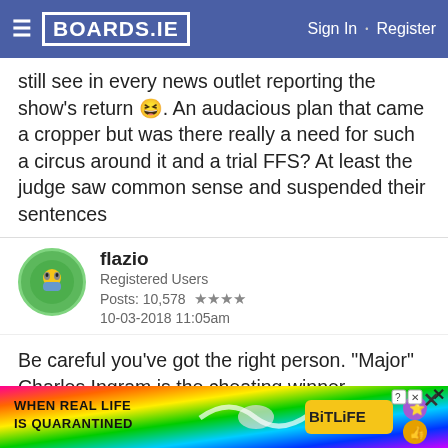BOARDS.IE  Sign In · Register
still see in every news outlet reporting the show's return 😆. An audacious plan that came a cropper but was there really a need for such a circus around it and a trial FFS? At least the judge saw common sense and suspended their sentences
flazio
Registered Users
Posts: 10,578 ★★★★
10-03-2018 11:05am
Be careful you've got the right person. "Major" Charles Ingram is the cheating winner.
Ingram Wilcox was the last genuine millionaire from the programme.
[Figure (screenshot): BitLife advertisement banner: rainbow background with text 'WHEN REAL LIFE IS QUARANTINED' and BitLife logo with emoji icons]